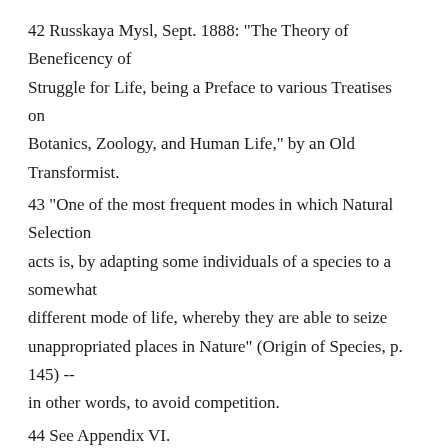42 Russkaya Mysl, Sept. 1888: "The Theory of Beneficency of Struggle for Life, being a Preface to various Treatises on Botanics, Zoology, and Human Life," by an Old Transformist.
43 "One of the most frequent modes in which Natural Selection acts is, by adapting some individuals of a species to a somewhat different mode of life, whereby they are able to seize unappropriated places in Nature" (Origin of Species, p. 145) -- in other words, to avoid competition.
44 See Appendix VI.
◂ 1. Mutual aid among animals   Up
2. Mutual aid among animals ▸